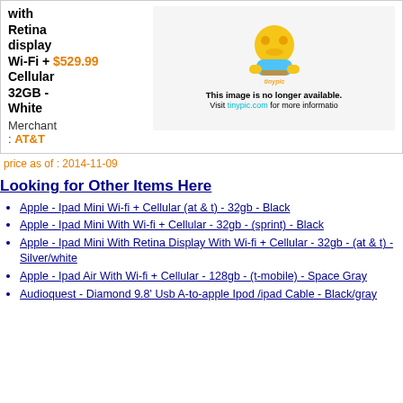with Retina display Wi-Fi + Cellular 32GB - White
$529.99
Merchant : AT&T
[Figure (illustration): Tinypic placeholder image with cartoon character and text: This image is no longer available. Visit tinypic.com for more information.]
price as of : 2014-11-09
Looking for Other Items Here
Apple - Ipad Mini Wi-fi + Cellular (at & t) - 32gb - Black
Apple - Ipad Mini With Wi-fi + Cellular - 32gb - (sprint) - Black
Apple - Ipad Mini With Retina Display With Wi-fi + Cellular - 32gb - (at & t) - Silver/white
Apple - Ipad Air With Wi-fi + Cellular - 128gb - (t-mobile) - Space Gray
Audioquest - Diamond 9.8' Usb A-to-apple Ipod /ipad Cable - Black/gray